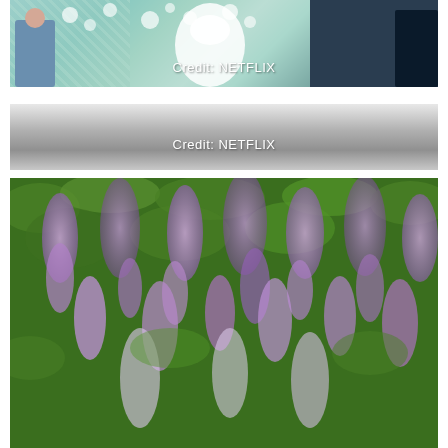[Figure (photo): Scene from Netflix show with figures in an ornate floral room setting, with teal/white floral wallpaper and decorative elements. Credit: NETFLIX overlay text.]
[Figure (photo): Gray/blank image placeholder with Credit: NETFLIX text centered, transitioning from light gray to darker gray tones.]
[Figure (photo): Close-up of purple/lavender wisteria flowers hanging in dense clusters amid green foliage.]